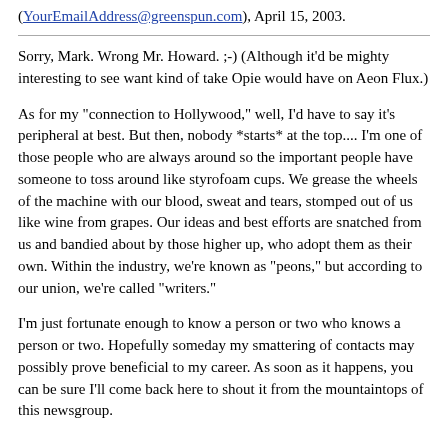(YourEmailAddress@greenspun.com), April 15, 2003.
Sorry, Mark. Wrong Mr. Howard. ;-) (Although it'd be mighty interesting to see want kind of take Opie would have on Aeon Flux.)
As for my "connection to Hollywood," well, I'd have to say it's peripheral at best. But then, nobody *starts* at the top.... I'm one of those people who are always around so the important people have someone to toss around like styrofoam cups. We grease the wheels of the machine with our blood, sweat and tears, stomped out of us like wine from grapes. Our ideas and best efforts are snatched from us and bandied about by those higher up, who adopt them as their own. Within the industry, we're known as "peons," but according to our union, we're called "writers."
I'm just fortunate enough to know a person or two who knows a person or two. Hopefully someday my smattering of contacts may possibly prove beneficial to my career. As soon as it happens, you can be sure I'll come back here to shout it from the mountaintops of this newsgroup.